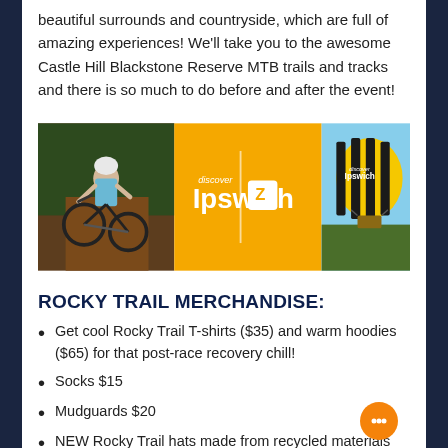beautiful surrounds and countryside, which are full of amazing experiences! We'll take you to the awesome Castle Hill Blackstone Reserve MTB trails and tracks and there is so much to do before and after the event!
[Figure (photo): Promotional banner with three sections: a mountain biker on a dirt trail, a yellow 'discover Ipswich' logo panel, and a yellow and black hot air balloon in flight over a landscape.]
ROCKY TRAIL MERCHANDISE:
Get cool Rocky Trail T-shirts ($35) and warm hoodies ($65) for that post-race recovery chill!
Socks $15
Mudguards $20
NEW Rocky Trail hats made from recycled materials